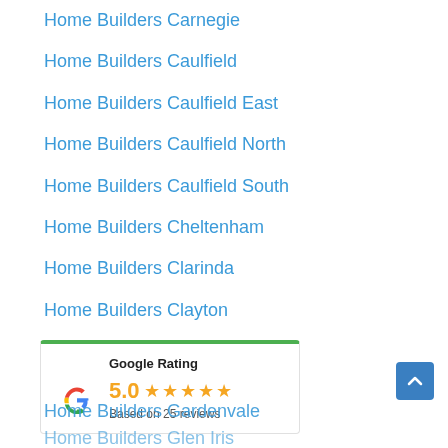Home Builders Carnegie
Home Builders Caulfield
Home Builders Caulfield East
Home Builders Caulfield North
Home Builders Caulfield South
Home Builders Cheltenham
Home Builders Clarinda
Home Builders Clayton
Home Builders Dingley
[Figure (other): Google Rating widget showing 5.0 stars based on 25 reviews with Google G logo]
Home Builders Gardenvale
Home Builders Glen Iris